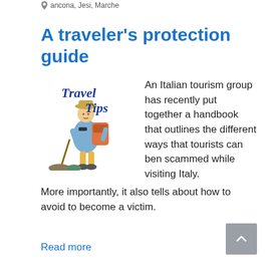ancona, Jesi, Marche
A traveler's protection guide
[Figure (illustration): Travel Tips illustration showing a backpacker loaded with luggage and the words 'Travel Tips' in blue italic font]
An Italian tourism group has recently put together a handbook that outlines the different ways that tourists can ben scammed while visiting Italy.
More importantly, it also tells about how to avoid to become a victim.
Read more